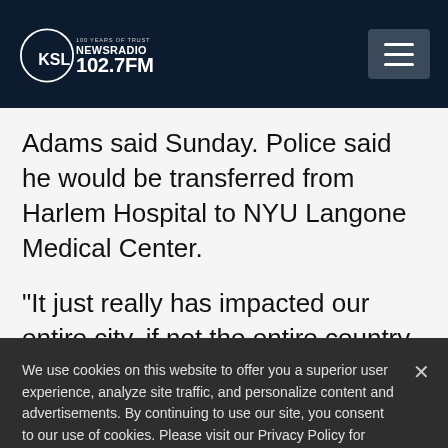KSL NewsRadio 102.7FM — 100 Years of Trust
Adams said Sunday. Police said he would be transferred from Harlem Hospital to NYU Langone Medical Center.
“It just really has impacted our entire city, if not the entire country. And this is coming
We use cookies on this website to offer you a superior user experience, analyze site traffic, and personalize content and advertisements. By continuing to use our site, you consent to our use of cookies. Please visit our Privacy Policy for more information.
Accept Cookies